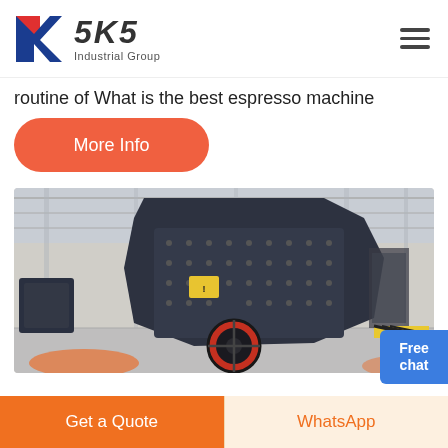SKS Industrial Group
routine of What is the best espresso machine
More Info
[Figure (photo): Industrial hammer crusher / impact crusher machine in a large factory hall]
Free chat
Get a Quote
WhatsApp